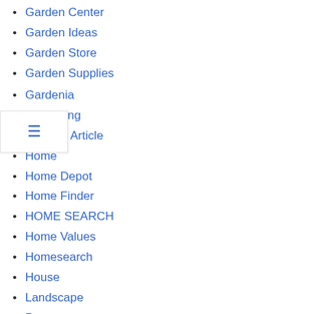Garden Center
Garden Ideas
Garden Store
Garden Supplies
Gardenia
Gardening
General Article
Home
Home Depot
Home Finder
HOME SEARCH
Home Values
Homesearch
House
Landscape
Property
Real Estate
THE HOME